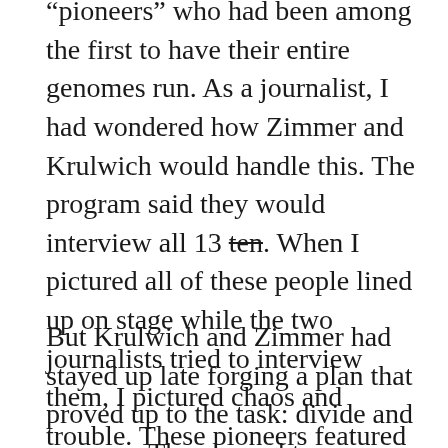“pioneers” who had been among the first to have their entire genomes run. As a journalist, I had wondered how Zimmer and Krulwich would handle this. The program said they would interview all 13 ten. When I pictured all of these people lined up on stage while the two journalists tried to interview them, I pictured chaos and trouble. These pioneers featured some larger-than-life figures and a couple cowboys, including James Watson and Skip Gates: a diversity and range of energy, personality, and ideas that might prove hard to handle.
But Krulwich and Zimmer had stayed up late forging a plan that proved up to the task: divide and conquer. They brought up Watson first, and alone, and extracted from that dangerously